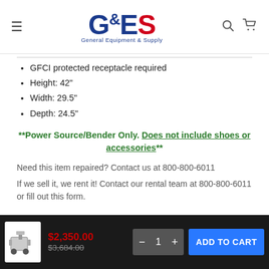General Equipment & Supply (GES) - website header with navigation
GFCI protected receptacle required
Height: 42"
Width: 29.5"
Depth: 24.5"
**Power Source/Bender Only. Does not include shoes or accessories**
Need this item repaired? Contact us at 800-800-6011
If we sell it, we rent it! Contact our rental team at 800-800-6011 or fill out this form.
$2,350.00  $3,684.00  1  ADD TO CART